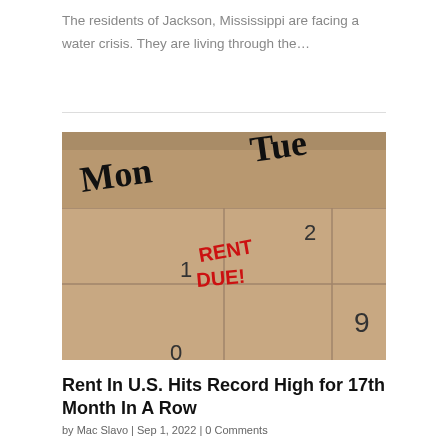The residents of Jackson, Mississippi are facing a water crisis. They are living through the…
[Figure (photo): A close-up photo of a calendar showing Monday the 1st with 'RENT DUE!' written in red marker, and the number 2 visible in the Tuesday column and 9 visible in the bottom right corner.]
Rent In U.S. Hits Record High for 17th Month In A Row
by Mac Slavo | Sep 1, 2022 | 0 Comments